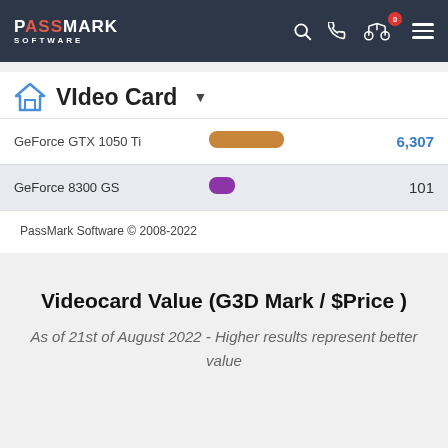PassMark Software
Video Card
| GPU | Bar | Score |
| --- | --- | --- |
| GeForce GTX 1050 Ti | (bar) | 6,307 |
| GeForce 8300 GS | (bar) | 101 |
PassMark Software © 2008-2022
Videocard Value (G3D Mark / $Price )
As of 21st of August 2022 - Higher results represent better value